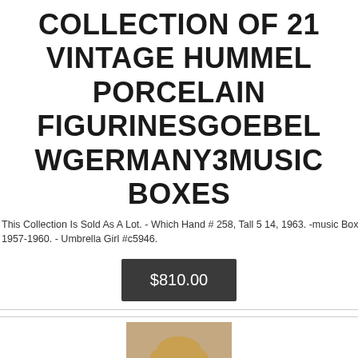COLLECTION OF 21 VINTAGE HUMMEL PORCELAIN FIGURINESGOEBEL WGERMANY3MUSIC BOXES
This Collection Is Sold As A Lot. - Which Hand # 258, Tall 5 14, 1963. -music Boxes. - Boy Toy Horse #20, Tall 4 14", 1959-1960. - Little Goat Herder # 2000, Tall 4 34, 1957-1960. - Umbrella Girl #c5946.
$810.00
[Figure (photo): Photo of a Hummel porcelain figurine of a boy, shown from the torso up, with a tan/beige background.]